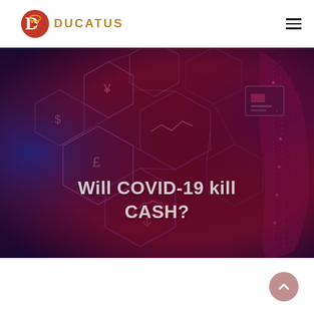DUCATUS
[Figure (photo): Dark red and blue tinted digital/blockchain themed background with hexagonal network icons and a glowing digital human figure on the right. Overlay text reads 'Will COVID-19 kill CASH?']
Will COVID-19 kill CASH?